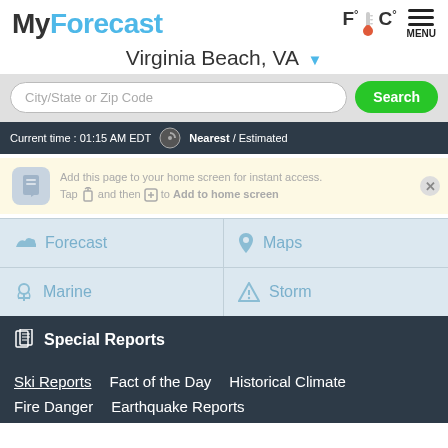MyForecast
Virginia Beach, VA ▼
City/State or Zip Code  Search
Current time : 01:15 AM EDT   Nearest / Estimated
Add this page to your home screen for instant access. Tap and then to Add to home screen
☁ Forecast
📍 Maps
⚓ Marine
⚠ Storm
Special Reports
Ski Reports   Fact of the Day   Historical Climate
Fire Danger   Earthquake Reports